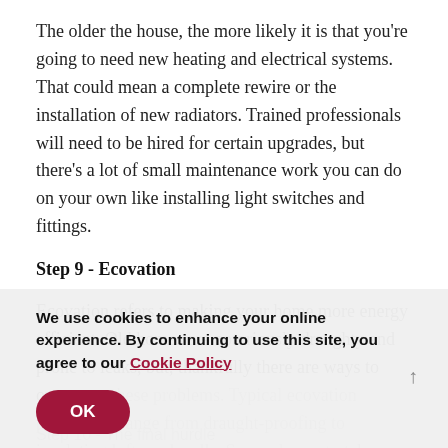The older the house, the more likely it is that you're going to need new heating and electrical systems. That could mean a complete rewire or the installation of new radiators. Trained professionals will need to be hired for certain upgrades, but there's a lot of small maintenance work you can do on your own like installing light switches and fittings.
Step 9 - Ecovation
Ecovation refers to making your home more energy efficient. Old homes are notoriously draughty and prone to leaks, but, thankfully there are ways to overcome these problems. Typical ecovation procedures range from draught-proofing to insulating lofts and walls. Some choose to take advantage of a carbon-saving scheme set by the government.
We use cookies to enhance your online experience. By continuing to use this site, you agree to our Cookie Policy
Step 10 - The final hurdle